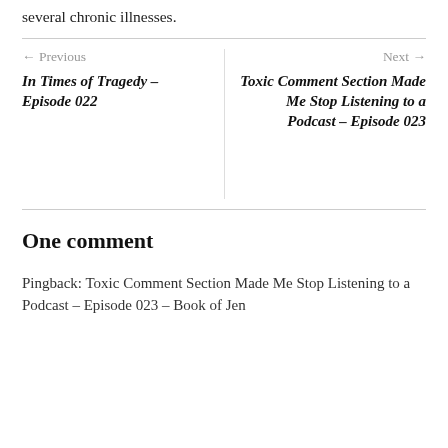several chronic illnesses.
← Previous
In Times of Tragedy – Episode 022
Next →
Toxic Comment Section Made Me Stop Listening to a Podcast – Episode 023
One comment
Pingback: Toxic Comment Section Made Me Stop Listening to a Podcast – Episode 023 – Book of Jen